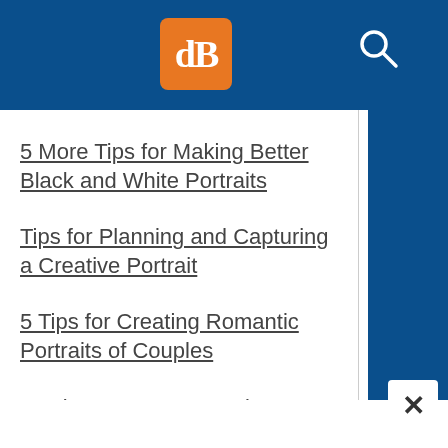dPS
5 More Tips for Making Better Black and White Portraits
Tips for Planning and Capturing a Creative Portrait
5 Tips for Creating Romantic Portraits of Couples
10 Tips to Create Emotive Portraits
7 Tips for Photographing a Bridal Portrait Session
3 Lessons I Learned by Doing a Self-Portrait ...